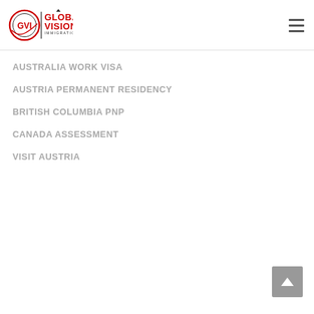[Figure (logo): Global Vision Immigration logo with circular GVI emblem and red text reading GLOBAL VISION IMMIGRATION]
AUSTRALIA WORK VISA
AUSTRIA PERMANENT RESIDENCY
BRITISH COLUMBIA PNP
CANADA ASSESSMENT
VISIT AUSTRIA